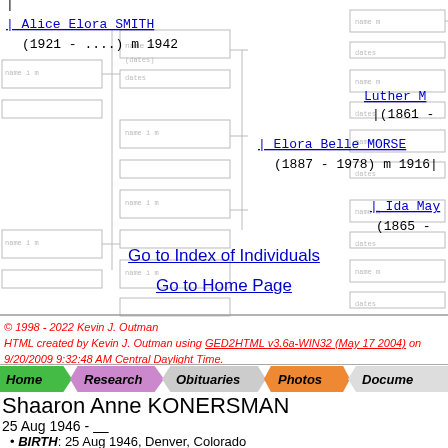[Figure (other): Genealogy pedigree chart showing ancestors of Shaaron Anne KONERSMAN, with faded background boxes and connector lines. Named individuals visible: Alice Elora SMITH (1921 - ....) m 1942, Elora Belle MORSE (1887 - 1978) m 1916, Luther M. (1861 -), Ida May (1865 -)]
Go to Index of Individuals
Go to Home Page
© 1998 - 2022 Kevin J. Outman
HTML created by Kevin J. Outman using GED2HTML v3.6a-WIN32 (May 17 2004) on 9/20/2009 9:32:48 AM Central Daylight Time.
[Figure (infographic): Navigation bar with tabs: Home (green), Research (pink/purple), Obituaries (gray), Photos (orange), Docume... (gray)]
Shaaron Anne KONERSMAN
25 Aug 1946 - ____
BIRTH: 25 Aug 1946, Denver, Colorado
Father: Andrew Joseph KONERSMAN
Mother: Marth...